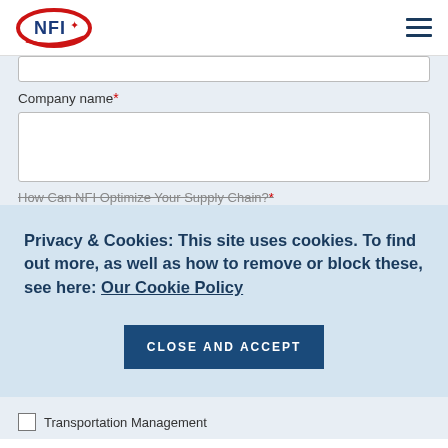[Figure (logo): NFI logo with red oval and blue text with maple leaf icon]
Company name*
How Can NFI Optimize Your Supply Chain?*
Privacy & Cookies: This site uses cookies. To find out more, as well as how to remove or block these, see here: Our Cookie Policy
CLOSE AND ACCEPT
Transportation Management